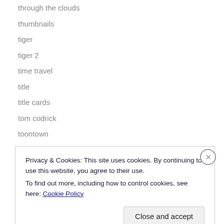through the clouds
thumbnails
tiger
tiger 2
time travel
title
title cards
tom codrick
toontown
toontown
trailer
train
trains
Privacy & Cookies: This site uses cookies. By continuing to use this website, you agree to their use. To find out more, including how to control cookies, see here: Cookie Policy